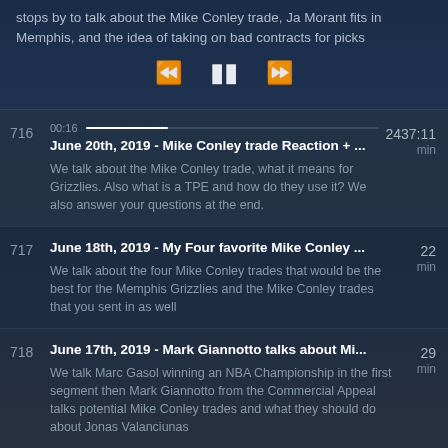stops by to talk about the Mike Conley trade, Ja Morant fits in Memphis, and the idea of taking on bad contracts for picks
[Figure (screenshot): Media player controls: rewind, pause, fast-forward buttons]
716 | June 20th, 2019 - Mike Conley trade Reaction + ... | 2437:11 min | We talk about the Mike Conley trade, what it means for Grizzlies. Also what is a TPE and how do they use it? We also answer your questions at the end.
717 | June 18th, 2019 - My Four favorite Mike Conley ... | 22 min | We talk about the four Mike Conley trades that would be the best for the Memphis Grizzlies and the Mike Conley trades that you sent in as well
718 | June 17th, 2019 - Mark Giannotto talks about Mi... | 29 min | We talk Marc Gasol winning an NBA Championship in the first segment then Mark Giannotto from the Commercial Appeal talks potential Mike Conley trades and what they should do about Jonas Valanciunas
719 | June 14th, 2019 - Joe Mullinax talks Jonas | 32